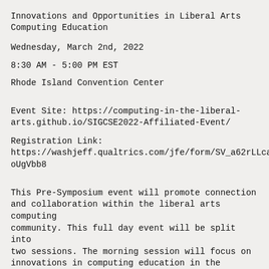Innovations and Opportunities in Liberal Arts Computing Education
Wednesday, March 2nd, 2022
8:30 AM - 5:00 PM EST
Rhode Island Convention Center
Event Site: https://computing-in-the-liberal-arts.github.io/SIGCSE2022-Affiliated-Event/
Registration Link: https://washjeff.qualtrics.com/jfe/form/SV_a62rLLcaoUgVbb8
This Pre-Symposium event will promote connection and collaboration within the liberal arts computing community. This full day event will be split into two sessions. The morning session will focus on innovations in computing education in the liberal arts and will include both a panel presenting selected exemplar curricular innovations and then